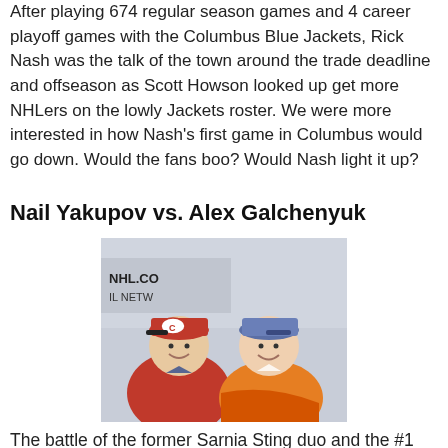After playing 674 regular season games and 4 career playoff games with the Columbus Blue Jackets, Rick Nash was the talk of the town around the trade deadline and offseason as Scott Howson looked up get more NHLers on the lowly Jackets roster. We were more interested in how Nash's first game in Columbus would go down. Would the fans boo? Would Nash light it up?
Nail Yakupov vs. Alex Galchenyuk
[Figure (photo): Two young hockey players wearing NHL draft caps (one in a Montreal Canadiens red jersey, one in an orange jersey) smiling and facing each other at what appears to be the 2012 NHL Draft, with NHL.com and NHL Network branding visible in the background.]
The battle of the former Sarnia Sting duo and the #1 and #3 overall picks in the 2012 NHL Draft. The two are buddies so it would have been fun to see how they matched up against each other. While the season was the 2012 NHL Draft...